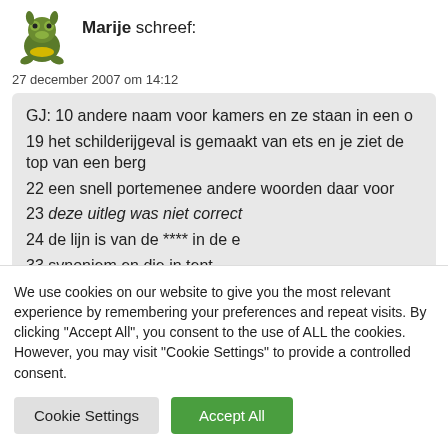Marije schreef:
27 december 2007 om 14:12
GJ: 10 andere naam voor kamers en ze staan in een o
19 het schilderijgeval is gemaakt van ets en je ziet de top van een berg
22 een snell portemenee andere woorden daar voor
23 deze uitleg was niet correct
24 de lijn is van de **** in de e
33 synoniem en die in tent
We use cookies on our website to give you the most relevant experience by remembering your preferences and repeat visits. By clicking "Accept All", you consent to the use of ALL the cookies. However, you may visit "Cookie Settings" to provide a controlled consent.
Cookie Settings
Accept All